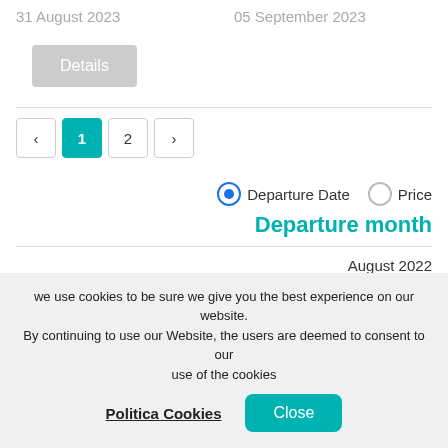31 August 2023
05 September 2023
Details
< 1 2 >
Departure Date   Price
Departure month
August 2022
September 2022
we use cookies to be sure we give you the best experience on our website. By continuing to use our Website, the users are deemed to consent to our use of the cookies
Politica Cookies
Close